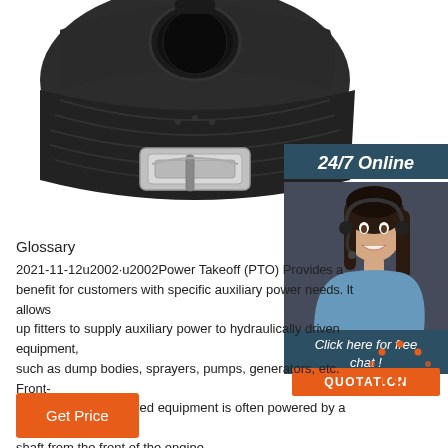[Figure (photo): Close-up photo of a black nylon wristband/strap with a metal buckle clasp, on a white background.]
24/7 Online
[Figure (photo): Photo of a female customer service agent wearing a headset, smiling, in a blue shirt, against a dark background.]
Click here for free chat !
QUOTATION
Glossary
2021-11-12u2002·u2002Power Takeoff (PTO) Provides a benefit for customers with specific auxiliary power needs. It allows up fitters to supply auxiliary power to hydraulically driven equipment, such as dump bodies, sprayers, pumps, generators, etc. Front-mounted, front-powered equipment is often powered by a direct drive shaft from the front of the engine.
[Figure (other): Orange dot pattern forming an arc above the text TOP in orange, indicating a back-to-top button.]
Get Price